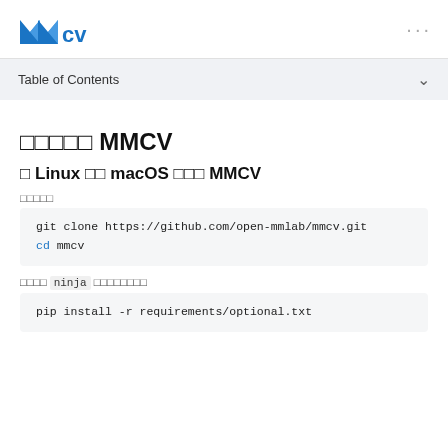MMCV logo and navigation
Table of Contents
□□□□□ MMCV
□ Linux □□ macOS □□□ MMCV
□□□□□
git clone https://github.com/open-mmlab/mmcv.git
cd mmcv
□□□□ ninja □□□□□□□□
pip install -r requirements/optional.txt